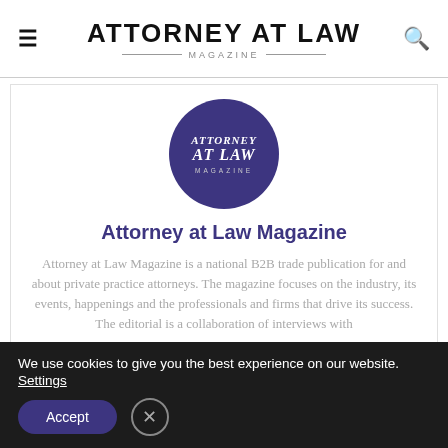ATTORNEY AT LAW MAGAZINE
[Figure (logo): Circular dark purple logo with text Attorney At Law Magazine in white serif italic font]
Attorney at Law Magazine
Attorney at Law Magazine is a national B2B trade publication for and about private practice attorneys. The magazine focuses on the industry, its events, happenings and the professionals and firms that drive its success. The editorial is a collaboration of interviews with
We use cookies to give you the best experience on our website. Settings Accept